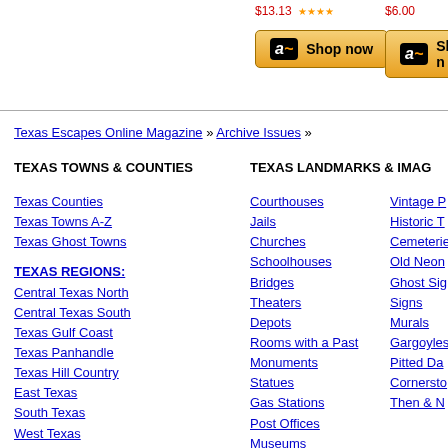[Figure (screenshot): Amazon 'Shop now' buttons with prices at top of page]
Texas Escapes Online Magazine » Archive Issues »
TEXAS TOWNS & COUNTIES
TEXAS LANDMARKS & IMAGES
Texas Counties
Texas Towns A-Z
Texas Ghost Towns
TEXAS REGIONS:
Central Texas North
Central Texas South
Texas Gulf Coast
Texas Panhandle
Texas Hill Country
East Texas
South Texas
West Texas
Courthouses
Jails
Churches
Schoolhouses
Bridges
Theaters
Depots
Rooms with a Past
Monuments
Statues
Gas Stations
Post Offices
Museums
Water Towers
Grain Elevators
Cotton Gins
Lodges
Stores
Vintage P...
Historic T...
Cemeteries
Old Neon...
Ghost Signs
Signs
Murals
Gargoyles
Pitted Da...
Cornersto...
Then & N...